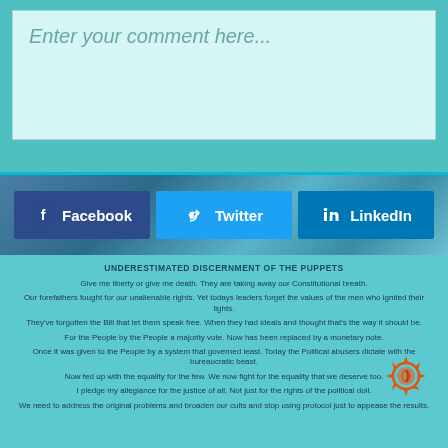Enter your comment here...
[Figure (screenshot): Social media share buttons: Facebook (dark blue), Twitter (light blue), LinkedIn (blue) with icons]
UNDERESTIMATED DISCERNMENT OF THE PUPPETS
Give me liberty or give me death. They are taking away our Constitutional breath.
Our forefathers fought for our unalienable rights. Yet todays leaders forget the values of the men who ignited their lights.
They've forgotten the Bill that let them speak free. When they had ideals and thought that's the way it should be.
For the People by the People a majority vote. Now has been replaced by a monetary note.
Once it was given to the People by a system that governed least. Today the Political abusers dictate with the bureaucratic beast.
Now fed up with the equality for the few. We now fight for the equality that we deserve too.
I pledge my allegiance for the justice of all. Not just for the rights of the political doll.
We need to address the original problems and broaden our cults and stop using protocol just to appease the results.